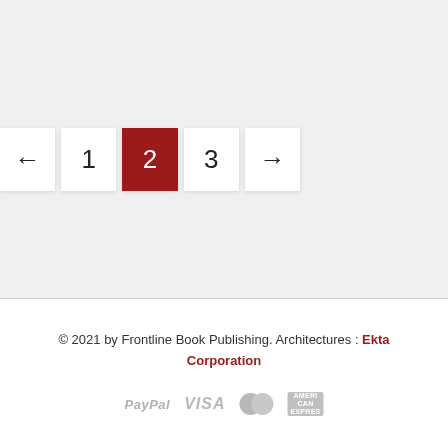[Figure (other): Pagination navigation bar with buttons: left arrow, 1, 2 (active/highlighted in dark red), 3, right arrow]
© 2021 by Frontline Book Publishing. Architectures : Ekta Corporation
[Figure (other): Payment method icons: PayPal, VISA, Mastercard, American Express — all shown in light gray]